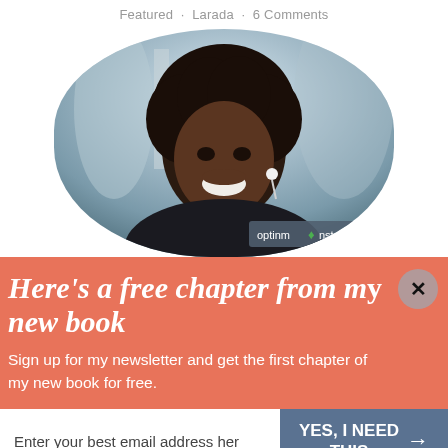Featured · Larada · 6 Comments
[Figure (photo): A smiling young Black woman with natural hair wearing earbuds, photographed outdoors with a blurred background. The image is cropped in an oval shape. An OptinMonster badge is visible in the lower right corner.]
Here's a free chapter from my new book
Sign up for my newsletter and get the first chapter of my new book for free.
Enter your best email address her
YES, I NEED THIS →